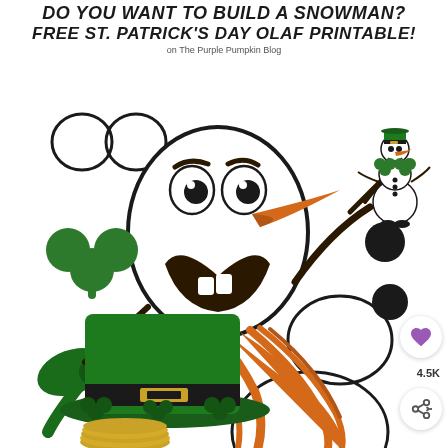DO YOU WANT TO BUILD A SNOWMAN? FREE ST. PATRICK'S DAY OLAF PRINTABLE!
on The Purple Pumpkin Blog
[Figure (illustration): St. Patrick's Day Olaf snowman cut-and-assemble printable sheet featuring Olaf's head with big eyes and smile, carrot nose, shamrock, bow, leprechaun hat, gold coins, body circles, arms, black buttons/eyes, and a completed Olaf character wearing a leprechaun hat in the top right corner. Also includes social buttons with heart icon (4.5K) and share icon.]